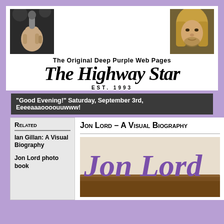[Figure (photo): Singer holding microphone, close-up of hands and mic]
[Figure (photo): Portrait of a man with long blond hair, Jon Lord]
The Original Deep Purple Web Pages
The Highway Star
EST. 1993
"Good Evening!" Saturday, September 3rd, Eeeeaaaoooouuwww!
Related
Ian Gillan: A Visual Biography
Jon Lord photo book
Jon Lord – A Visual Biography
[Figure (photo): Jon Lord book cover with large purple italic text 'Jon Lord']
Poke Around
Poke around
Select Category
Tour dates
Shop